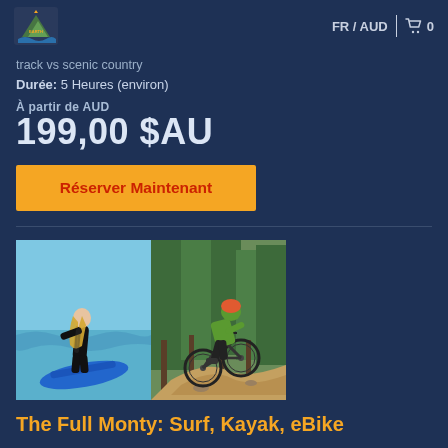[Figure (logo): EarthOcean brand logo with mountain/wave graphic, yellow and green on dark background]
FR / AUD
🛒 0
track vs scenic country
Durée: 5 Heures (environ)
À partir de AUD
199,00 $AU
Réserver Maintenant
[Figure (photo): Two side-by-side photos: left shows a woman surfboarding on the ocean on a blue board; right shows a mountain biker riding through a forest trail]
The Full Monty: Surf, Kayak, eBike